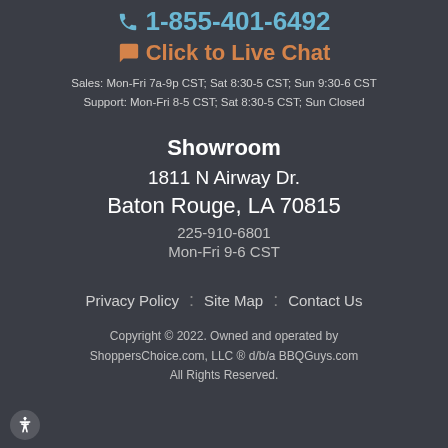1-855-401-6492
Click to Live Chat
Sales: Mon-Fri 7a-9p CST; Sat 8:30-5 CST; Sun 9:30-6 CST
Support: Mon-Fri 8-5 CST; Sat 8:30-5 CST; Sun Closed
Showroom
1811 N Airway Dr.
Baton Rouge, LA 70815
225-910-6801
Mon-Fri 9-6 CST
Privacy Policy : Site Map : Contact Us
Copyright © 2022. Owned and operated by ShoppersChoice.com, LLC ® d/b/a BBQGuys.com All Rights Reserved.